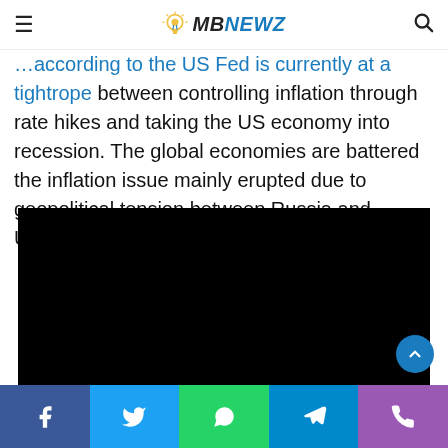MBNewz
…according to the US Fed is currently at a tightrope between controlling inflation through rate hikes and taking the US economy into recession. The global economies are battered the inflation issue mainly erupted due to geopolitical tension between Russia and Ukraine war.
[Figure (other): Black video embed placeholder]
Facebook Twitter WhatsApp Telegram Phone social share bar